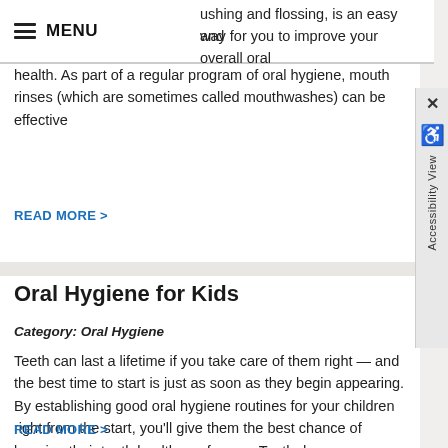MENU
ushing and flossing, is an easy and way for you to improve your overall oral health. As part of a regular program of oral hygiene, mouth rinses (which are sometimes called mouthwashes) can be effective
READ MORE >
Oral Hygiene for Kids
Category: Oral Hygiene
Teeth can last a lifetime if you take care of them right — and the best time to start is just as soon as they begin appearing. By establishing good oral hygiene routines for your children right from the start, you'll give them the best chance of keeping their teeth healthy — forever. Tooth decay,
READ MORE >